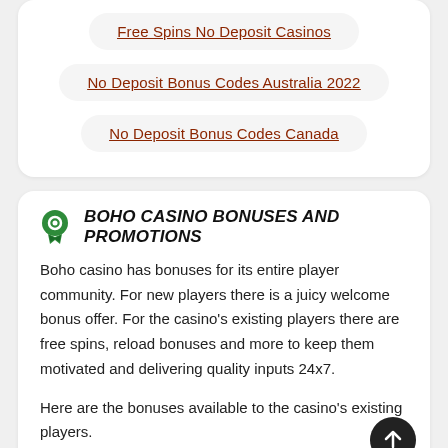Free Spins No Deposit Casinos
No Deposit Bonus Codes Australia 2022
No Deposit Bonus Codes Canada
BOHO CASINO BONUSES AND PROMOTIONS
Boho casino has bonuses for its entire player community. For new players there is a juicy welcome bonus offer. For the casino's existing players there are free spins, reload bonuses and more to keep them motivated and delivering quality inputs 24x7.
Here are the bonuses available to the casino's existing players.